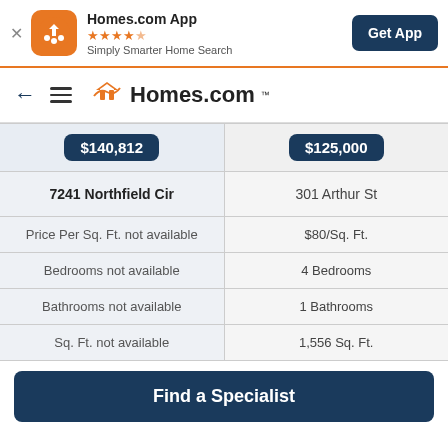[Figure (screenshot): Homes.com app banner with orange icon, star rating, tagline, and Get App button]
[Figure (logo): Homes.com navigation bar with back arrow, hamburger menu, and Homes.com logo]
| $140,812 | $125,000 |
| --- | --- |
| 7241 Northfield Cir | 301 Arthur St |
| Price Per Sq. Ft. not available | $80/Sq. Ft. |
| Bedrooms not available | 4 Bedrooms |
| Bathrooms not available | 1 Bathrooms |
| Sq. Ft. not available | 1,556 Sq. Ft. |
Find a Specialist